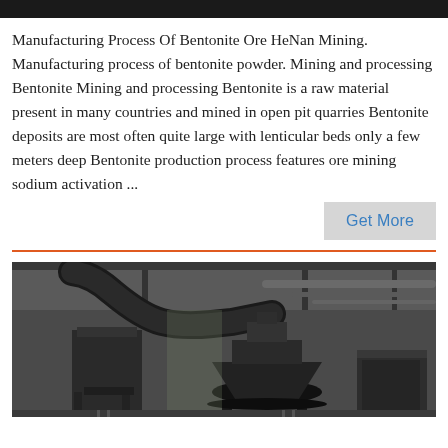[Figure (photo): Black top bar/header strip at the top of the page]
Manufacturing Process Of Bentonite Ore HeNan Mining. Manufacturing process of bentonite powder. Mining and processing Bentonite Mining and processing Bentonite is a raw material present in many countries and mined in open pit quarries Bentonite deposits are most often quite large with lenticular beds only a few meters deep Bentonite production process features ore mining sodium activation ...
Get More
[Figure (photo): Industrial mining/milling machinery inside a warehouse or factory building. Dark metal equipment with large pipes and ducts overhead, a cone crusher or similar machine in the center-right, and structural supports visible. The background shows a large industrial space with a high ceiling.]